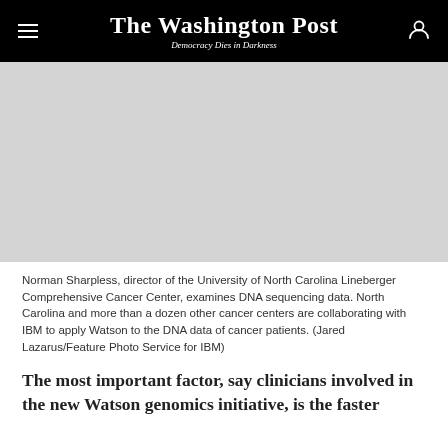The Washington Post — Democracy Dies in Darkness
[Figure (photo): Norman Sharpless examining DNA sequencing data at a computer screen in a lab setting]
Norman Sharpless, director of the University of North Carolina Lineberger Comprehensive Cancer Center, examines DNA sequencing data. North Carolina and more than a dozen other cancer centers are collaborating with IBM to apply Watson to the DNA data of cancer patients. (Jared Lazarus/Feature Photo Service for IBM)
The most important factor, say clinicians involved in the new Watson genomics initiative, is the faster